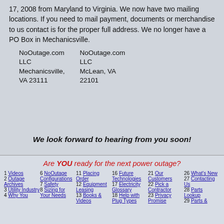17, 2008 from Maryland to Virginia.  We now have two mailing locations.  If you need to mail payment, documents or merchandise to us contact is for the proper full address. We no longer have a PO Box in Mechanicsville.
| NoOutage.com LLC
Mechanicsville, VA 23111 | NoOutage.com LLC
McLean, VA 22101 |
We look forward to hearing from you soon!
Are YOU ready for the next power outage?
1 Videos
2 Outage Archives
3 Utility Industry
4 Why You
6 NoOutage Configurations
7 Safety
8 Sizing for Your Needs
11 Placing Order
12 Equipment Leasing
13 Books & Videos
16 Future Technologies
17 Electricity Glossary
18 Help with Plug Types
21 Our Customers
22 Pick a Contractor
23 Privacy Promise
26 What's New
27 Contacting Us
28 Parts Lookup
29 Parts &